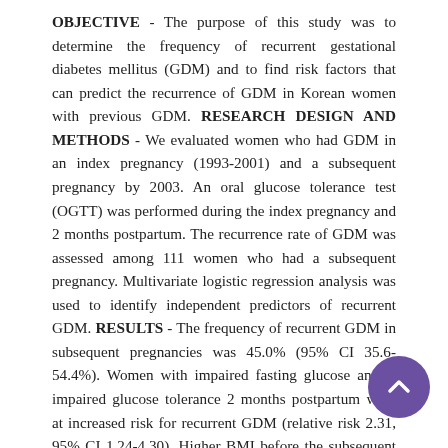OBJECTIVE - The purpose of this study was to determine the frequency of recurrent gestational diabetes mellitus (GDM) and to find risk factors that can predict the recurrence of GDM in Korean women with previous GDM. RESEARCH DESIGN AND METHODS - We evaluated women who had GDM in an index pregnancy (1993-2001) and a subsequent pregnancy by 2003. An oral glucose tolerance test (OGTT) was performed during the index pregnancy and 2 months postpartum. The recurrence rate of GDM was assessed among 111 women who had a subsequent pregnancy. Multivariate logistic regression analysis was used to identify independent predictors of recurrent GDM. RESULTS - The frequency of recurrent GDM in subsequent pregnancies was 45.0% (95% CI 35.6-54.4%). Women with impaired fasting glucose and/or impaired glucose tolerance 2 months postpartum were at increased risk for recurrent GDM (relative risk 2.31, 95% CI 1.24-4.30). Higher BMI before the subsequent pregnancy (P = 0.024), higher fasting glucose concentration (P = 0.007) 2 months postpartum, and lower 1-h insulin concentration (P =0.004) of the diagnostic OGTT in the index pregnancy were independent risk factors for recurrence of GDM in subsequent pregnancies. CONCLUSIONS - GDM recurred in nearly half of subsequent pregnancies in Korean